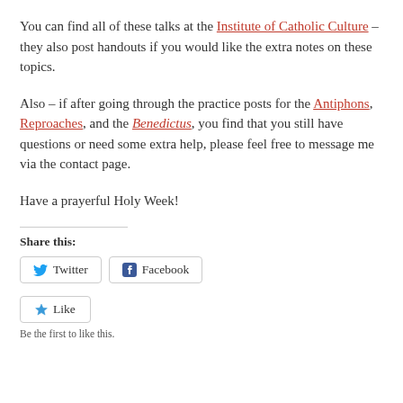You can find all of these talks at the Institute of Catholic Culture – they also post handouts if you would like the extra notes on these topics.
Also – if after going through the practice posts for the Antiphons, Reproaches, and the Benedictus, you find that you still have questions or need some extra help, please feel free to message me via the contact page.
Have a prayerful Holy Week!
Share this:
Twitter  Facebook
Like
Be the first to like this.